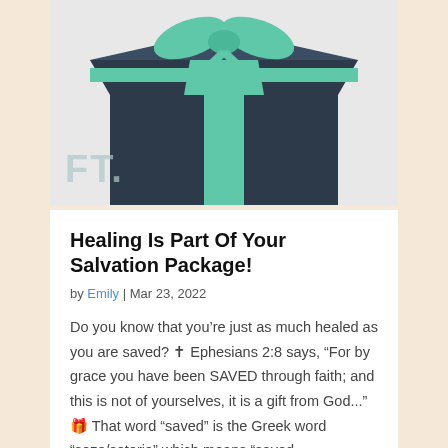[Figure (illustration): A dark navy blue gift box with teal/mint green ribbon, viewed from above and slightly angled, against a light background. Partially cropped at the top of the image.]
FT.
Healing Is Part Of Your Salvation Package!
by Emily | Mar 23, 2022
Do you know that you’re just as much healed as you are saved? ✝ Ephesians 2:8 says, “For by grace you have been SAVED through faith; and this is not of yourselves, it is a gift from God...” 🎁 That word “saved” is the Greek word “sozo/soteria” which means “saved,...